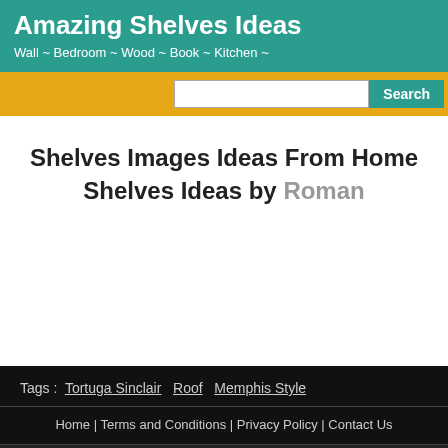Amazing Shelves Ideas
Wall ~ Bedroom ~ Wood ~ Book ~ Kitchen ~
Shelves Images Ideas From Home Shelves Ideas by Roman
Tags : Tortuga Sinclair  Roof  Memphis Style
Home | Terms and Conditions | Privacy Policy | Contact Us